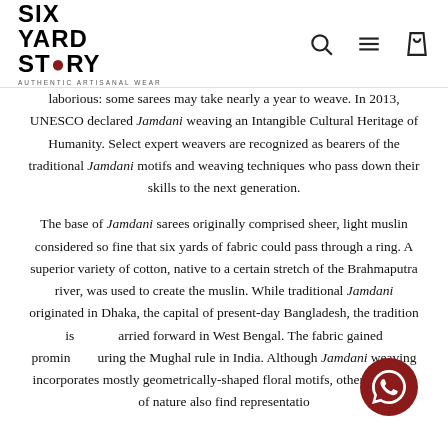SIX YARD STORY — AUTHENTIC ARTISANAL WEAR
laborious: some sarees may take nearly a year to weave. In 2013, UNESCO declared Jamdani weaving an Intangible Cultural Heritage of Humanity. Select expert weavers are recognized as bearers of the traditional Jamdani motifs and weaving techniques who pass down their skills to the next generation.
The base of Jamdani sarees originally comprised sheer, light muslin considered so fine that six yards of fabric could pass through a ring. A superior variety of cotton, native to a certain stretch of the Brahmaputra river, was used to create the muslin. While traditional Jamdani originated in Dhaka, the capital of present-day Bangladesh, the tradition is carried forward in West Bengal. The fabric gained prominence during the Mughal rule in India. Although Jamdani weaving incorporates mostly geometrically-shaped floral motifs, other elements of nature also find representation.